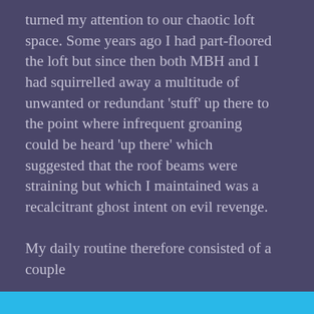turned my attention to our chaotic loft space. Some years ago I had part-floored the loft but since then both MBH and I had squirrelled away a multitude of unwanted or redundant 'stuff' up there to the point where infrequent groaning could be heard 'up there' which suggested that the roof beams were straining but which I maintained was a recalcitrant ghost intent on evil revenge.
My daily routine therefore consisted of a couple
Privacy & Cookies: This site uses cookies. By continuing to use this website, you agree to their use.
To find out more, including how to control cookies, see here: Cookie Policy
Close and accept